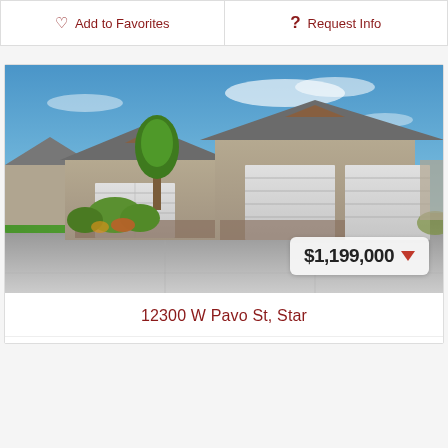Add to Favorites
Request Info
[Figure (photo): Front exterior photo of a single-story ranch-style home with three-car garage, stone accents, large concrete driveway, landscaped yard with trees and shrubs, blue sky background.]
$1,199,000 ▼
12300 W Pavo St, Star